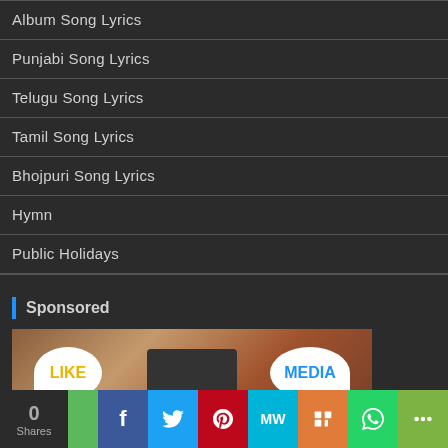Album Song Lyrics
Punjabi Song Lyrics
Telugu Song Lyrics
Tamil Song Lyrics
Bhojpuri Song Lyrics
Hymn
Public Holidays
Sponsored
[Figure (photo): Social media sharing concept photo showing people around laptop with LIKE and MEDIA speech bubbles]
0 Shares | Facebook | Twitter | Pinterest | MW | Mix | WhatsApp | Share